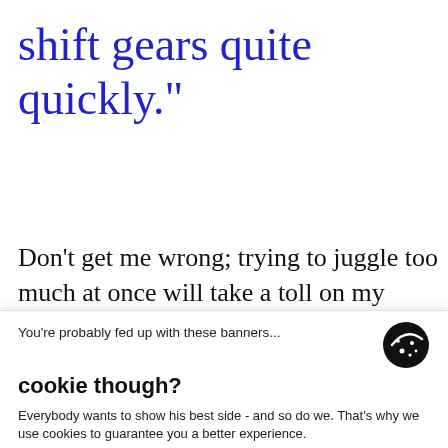shift gears quite quickly."
Don't get me wrong; trying to juggle too much at once will take a toll on my productivity too. I
You're probably fed up with these banners...
cookie though?
Everybody wants to show his best side - and so do we. That's why we use cookies to guarantee you a better experience.
Customize ∨
Decline   Accept all
focused eagle... with some multitasking skills.